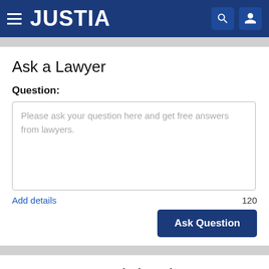JUSTIA
Ask a Lawyer
Question:
Please ask your question here and get free answers from lawyers.
Add details
120
Ask Question
Leaderboard
Washington